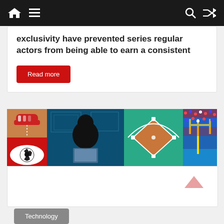Navigation bar with home, menu, search, and shuffle icons
exclusivity have prevented series regular actors from being able to earn a consistent
Read more
[Figure (photo): A 2x2 grid of sports-themed images: top-left shows red sneaker on orange background, bottom-left shows soccer ball eye illustration on red background, center shows silhouette of person at computer in blue-lit room, top-right shows baseball diamond on green background, bottom-right partially shown football stadium with colorful crowd]
Technology